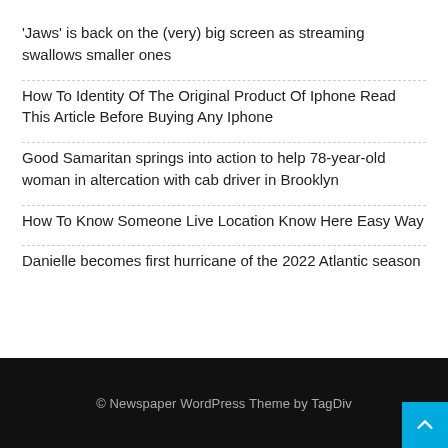'Jaws' is back on the (very) big screen as streaming swallows smaller ones
How To Identity Of The Original Product Of Iphone Read This Article Before Buying Any Iphone
Good Samaritan springs into action to help 78-year-old woman in altercation with cab driver in Brooklyn
How To Know Someone Live Location Know Here Easy Way
Danielle becomes first hurricane of the 2022 Atlantic season
© Newspaper WordPress Theme by TagDiv